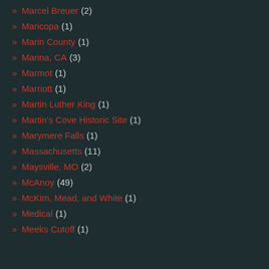Marcel Breuer (2)
Maricopa (1)
Marin County (1)
Marina, CA (3)
Marmot (1)
Marriott (1)
Martin Luther King (1)
Martin's Cove Historic Site (1)
Marymere Falls (1)
Massachusetts (11)
Maysville, MO (2)
McAnoy (49)
McKim, Mead, and White (1)
Medical (1)
Meeks Cutoff (1)